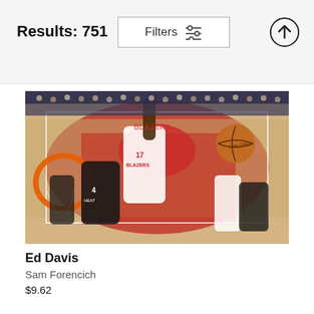Results: 751
Filters
[Figure (photo): Basketball game action shot: Portland Trail Blazers player Ed Davis (number 17) reaching up toward a basketball near the hoop, with a Miami Heat player (number 4) defending. Taken from above on an NBA court with the Trail Blazers logo visible. Arena crowd visible in the background.]
Ed Davis
Sam Forencich
$9.62